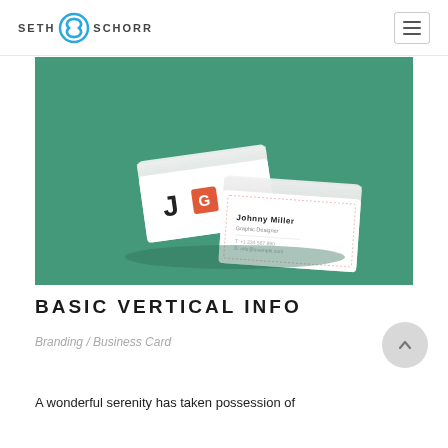SETH SCHORR
[Figure (photo): Two stacks of white business cards with initials J G W on a green background]
BASIC VERTICAL INFO
Branding / Business Card
A wonderful serenity has taken possession of